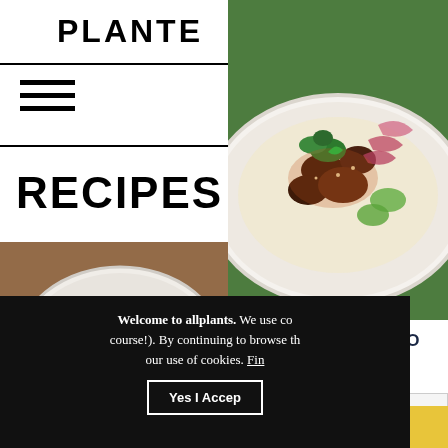PLANTE
[Figure (photo): Hamburger menu icon with three horizontal lines]
RECIPES
[Figure (photo): Food photo showing a white plate with samosas or dumplings and a spiced grain filling on a wooden table]
[Figure (photo): Food photo on green background showing a white bowl with spiced meat or vegetables topped with red onions, herbs, cucumber slices and sesame seeds]
SIGN UP FOR A COPY OF OUR RECIPE E-BOOK
Your email
What's your diet?
GET YOUR COPY
Welcome to allplants. We use cookies (of course!). By continuing to browse this site you agree to our use of cookies. Find out more
Yes I Accept